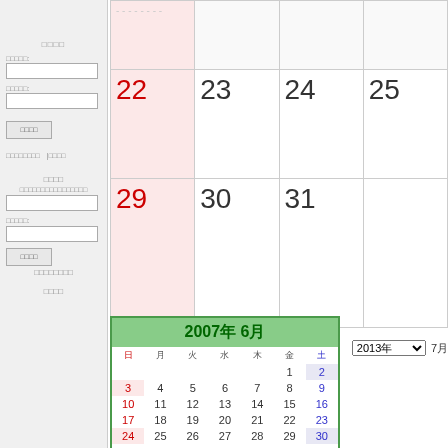[Figure (other): Sidebar with navigation controls, input fields, buttons, and links in Japanese/Chinese characters on gray background]
[Figure (other): Large monthly calendar grid showing dates 22-25 (top row) and 29-31 (bottom row), with Sunday column highlighted in pink]
[Figure (other): Mini calendar popup showing 2007年6月 (June 2007) with dates 1-30, Sunday dates in red, Saturday dates in blue]
[Figure (other): Year/month dropdown selector showing 2013年 with dropdown arrow and 7月]